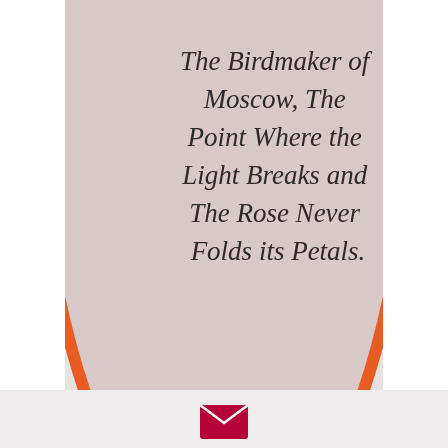[Figure (illustration): A large oval/ellipse shape with a thick orange border on a light gray background. The upper portion of the oval is filled with a muted pinkish-mauve color. Inside the pink filled area, italic text reads: 'The Birdmaker of Moscow, The Point Where the Light Breaks and The Rose Never Folds its Petals.' The lower half of the oval is transparent showing the gray background. Below the main card area is a footer strip with a magenta/pink envelope icon.]
The Birdmaker of Moscow, The Point Where the Light Breaks and The Rose Never Folds its Petals.